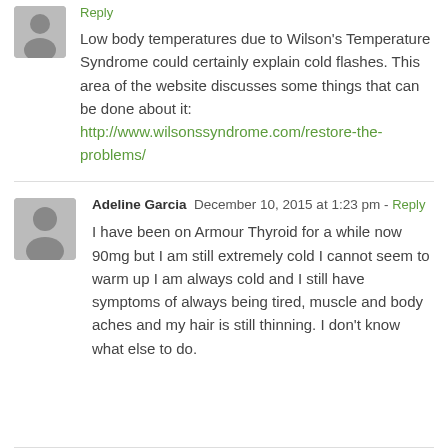Reply
Low body temperatures due to Wilson's Temperature Syndrome could certainly explain cold flashes. This area of the website discusses some things that can be done about it: http://www.wilsonssyndrome.com/restore-the-problems/
Adeline Garcia  December 10, 2015 at 1:23 pm - Reply
I have been on Armour Thyroid for a while now 90mg but I am still extremely cold I cannot seem to warm up I am always cold and I still have symptoms of always being tired, muscle and body aches and my hair is still thinning. I don't know what else to do.